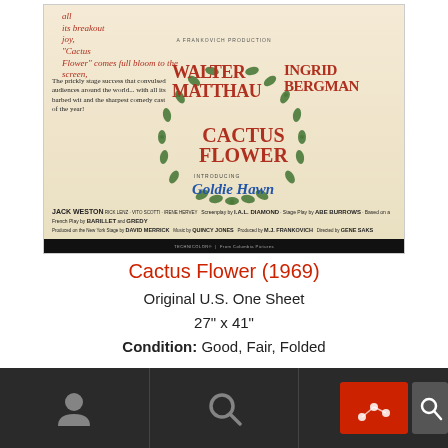[Figure (photo): Original movie poster for Cactus Flower (1969), a Frankovich Production. Features Walter Matthau and Ingrid Bergman's names prominently in red serif font inside a wreath of leaves. Goldie Hawn is introduced in blue italic script. Left side has descriptive text about the film. Bottom has credits including Jack Weston, I.A.L. Diamond, Abe Burrows, David Merrick, Quincy Jones, M.J. Frankovich, Gene Saks. From Columbia Pictures in Technicolor.]
Cactus Flower (1969)
Original U.S. One Sheet
27" x 41"
Condition: Good, Fair, Folded